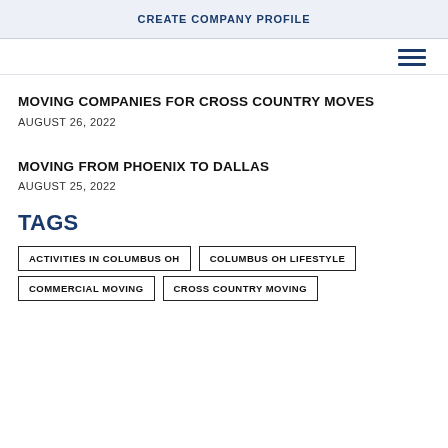CREATE COMPANY PROFILE
MOVING COMPANIES FOR CROSS COUNTRY MOVES
AUGUST 26, 2022
MOVING FROM PHOENIX TO DALLAS
AUGUST 25, 2022
TAGS
ACTIVITIES IN COLUMBUS OH
COLUMBUS OH LIFESTYLE
COMMERCIAL MOVING
CROSS COUNTRY MOVING